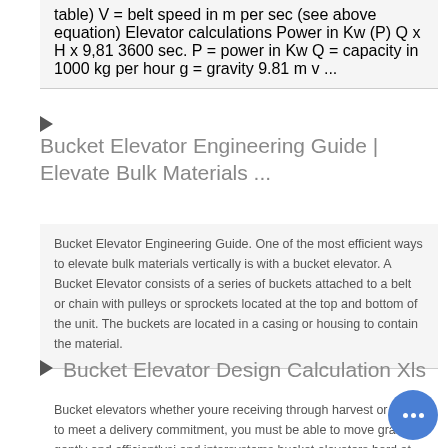table) V = belt speed in m per sec (see above equation) Elevator calculations Power in Kw (P) Q x H x 9,81 3600 sec. P = power in Kw Q = capacity in 1000 kg per hour g = gravity 9.81 m v ...
Bucket Elevator Engineering Guide | Elevate Bulk Materials ...
Bucket Elevator Engineering Guide. One of the most efficient ways to elevate bulk materials vertically is with a bucket elevator. A Bucket Elevator consists of a series of buckets attached to a belt or chain with pulleys or sprockets located at the top and bottom of the unit. The buckets are located in a casing or housing to contain the material.
Bucket Elevator Design Calculation Xls
Bucket elevators whether youre receiving through harvest or h out to meet a delivery commitment, you must be able to move grain gently and efficientlysi and intersystems bucket elevators hard at work on farms, grain elevators, and in processing